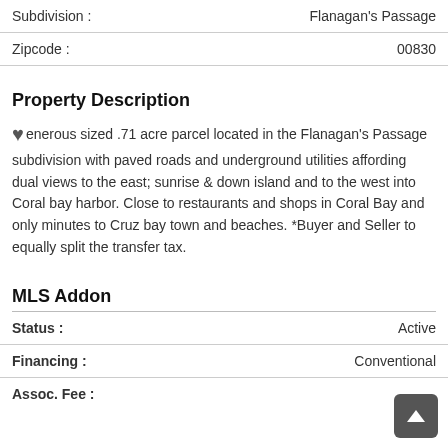| Field | Value |
| --- | --- |
| Subdivision : | Flanagan's Passage |
| Zipcode : | 00830 |
Property Description
Generous sized .71 acre parcel located in the Flanagan's Passage subdivision with paved roads and underground utilities affording dual views to the east; sunrise & down island and to the west into Coral bay harbor. Close to restaurants and shops in Coral Bay and only minutes to Cruz bay town and beaches. *Buyer and Seller to equally split the transfer tax.
MLS Addon
| Field | Value |
| --- | --- |
| Status : | Active |
| Financing : | Conventional |
| Assoc. Fee : |  |